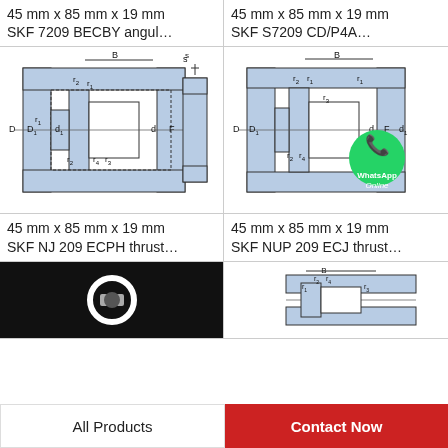45 mm x 85 mm x 19 mm SKF 7209 BECBY angul...
45 mm x 85 mm x 19 mm SKF S7209 CD/P4A...
[Figure (engineering-diagram): SKF NJ 209 ECPH cylindrical roller bearing cross-section diagram with labels D, D1, d1, d, F, B, r1, r2, r3, r4]
[Figure (engineering-diagram): SKF NUP 209 ECJ cylindrical roller bearing cross-section diagram with labels D, D1, d, F, d1, B, r1, r2, r3, r4 and WhatsApp Online overlay]
45 mm x 85 mm x 19 mm SKF NJ 209 ECPH thrust...
45 mm x 85 mm x 19 mm SKF NUP 209 ECJ thrust...
[Figure (engineering-diagram): Partial bearing photo, black background with white bearing component visible]
[Figure (engineering-diagram): Partial bearing cross-section diagram with labels B, r1, r2, r3, r4]
All Products
Contact Now